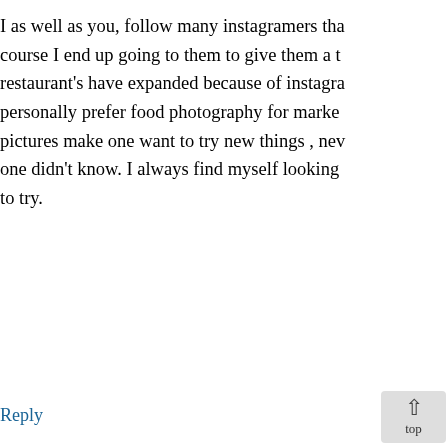I as well as you, follow many instagramers that of course I end up going to them to give them a try. restaurant's have expanded because of instagram. I personally prefer food photography for marketing as pictures make one want to try new things , new places one didn't know. I always find myself looking for things to try.
Reply
[Figure (illustration): Anime-style avatar of Rene.Montero81, a character with blue/purple hair wearing a blue headband]
Rene.Montero81 says:
November 29, 2015 at 12:56 pm
Yes, food photography is good for marketing as Instagram can help benefit food restaurants profit. By having customers put food photos, restaurants can get noticed and get everyone talking about it, its actually a great way for them to choose restaurants they like best by taking photos its a win win situation for both ends the...